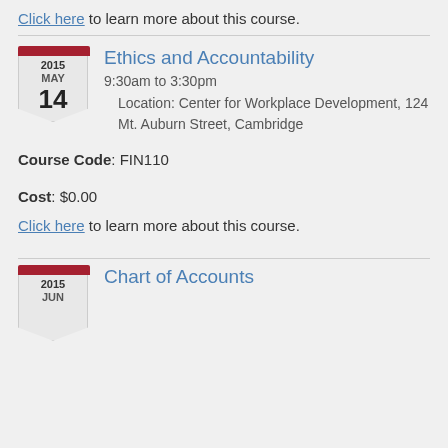Click here to learn more about this course.
Ethics and Accountability
9:30am to 3:30pm
Location: Center for Workplace Development, 124 Mt. Auburn Street, Cambridge
Course Code: FIN110
Cost: $0.00
Click here to learn more about this course.
Chart of Accounts